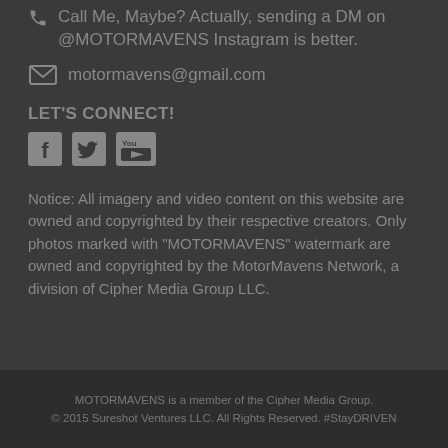Call Me, Maybe? Actually, sending a DM on @MOTORMAVENS Instagram is better.
motormavens@gmail.com
LET'S CONNECT!
[Figure (illustration): Social media icons: Facebook, Twitter, YouTube]
Notice: All imagery and video content on this website are owned and copyrighted by their respective creators. Only photos marked with "MOTORMAVENS" watermark are owned and copyrighted by the MotorMavens Network, a division of Cipher Media Group LLC.
MOTORMAVENS is a member of the Cipher Media Group.
© 2015 Sureshot Ventures LLC. All Rights Reserved. #StayDRIVEN